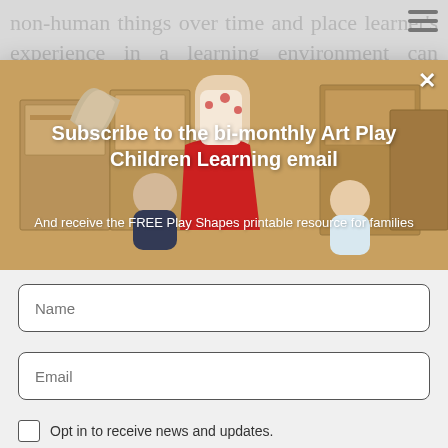non-human things over time and place learner's experience in a learning environment can therefore be seen as a series of interconnected relational moments in which
[Figure (photo): Photo of children playing with cardboard boxes, a woman in a red skirt standing among them]
Subscribe to the bi-monthly Art Play Children Learning email
And receive the FREE Play Shapes printable resource for families
Name (input field placeholder)
Email (input field placeholder)
Opt in to receive news and updates.
SUBSCRIBE